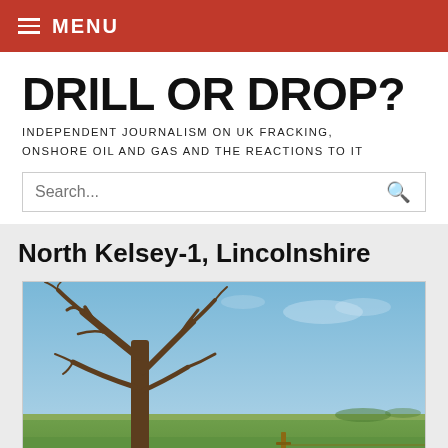MENU
DRILL OR DROP?
INDEPENDENT JOURNALISM ON UK FRACKING, ONSHORE OIL AND GAS AND THE REACTIONS TO IT
North Kelsey-1, Lincolnshire
[Figure (photo): Outdoor rural landscape photograph showing a bare winter tree in the foreground left, open green fields in the middle and background, and a clear blue sky. A wooden post is visible in the lower center-right of the image.]